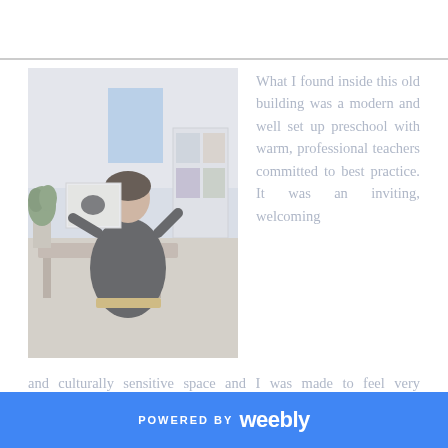[Figure (photo): Photo of a person (teacher or author) sitting and holding up a picture book in a preschool classroom setting. The room has shelving units with items, a blue window, and classroom furniture.]
What I found inside this old building was a modern and well set up preschool with warm, professional teachers committed to best practice. It was an inviting, welcoming and culturally sensitive space and I was made to feel very comfortable. This all made for an engaging, fun and relaxed visit in which the children responded with genuine enthusiasm. What more could an author want?!
POWERED BY weebly